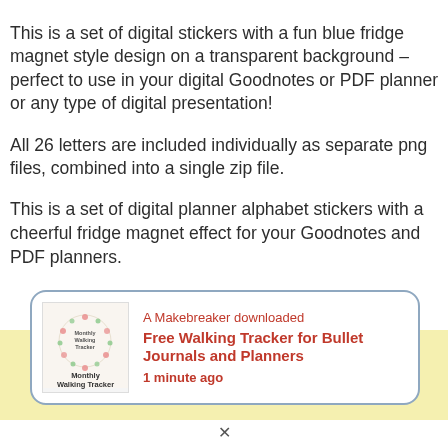This is a set of digital stickers with a fun blue fridge magnet style design on a transparent background – perfect to use in your digital Goodnotes or PDF planner or any type of digital presentation!
All 26 letters are included individually as separate png files, combined into a single zip file.
This is a set of digital planner alphabet stickers with a cheerful fridge magnet effect for your Goodnotes and PDF planners.
[Figure (other): Notification popup with image of Monthly Walking Tracker and text: A Makebreaker downloaded Free Walking Tracker for Bullet Journals and Planners 1 minute ago]